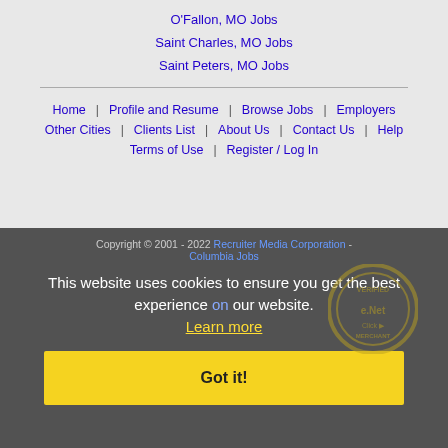O'Fallon, MO Jobs
Saint Charles, MO Jobs
Saint Peters, MO Jobs
Home | Profile and Resume | Browse Jobs | Employers | Other Cities | Clients List | About Us | Contact Us | Help | Terms of Use | Register / Log In
Copyright © 2001 - 2022 Recruiter Media Corporation - Columbia Jobs
This website uses cookies to ensure you get the best experience on our website. Learn more Got it!